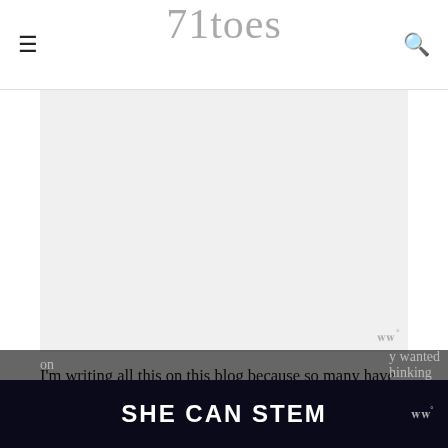71toes
[Figure (photo): Gray placeholder image area with a small watermark badge in the lower right corner showing 'ww°']
I'm writing all this on this blog because so many have asked. I feel like we almost have a little built in “Lucy Fan Club” that melts my heart. It’s taken us a little while to get our heads wrapped around this and to be ready to share it, but Dave and I are convinced that the more people we have rooting for her the better she’ll do. I want to thank everyone who has been so concerned about her and about us…all the prayers and thoughts
SHE CAN STEM